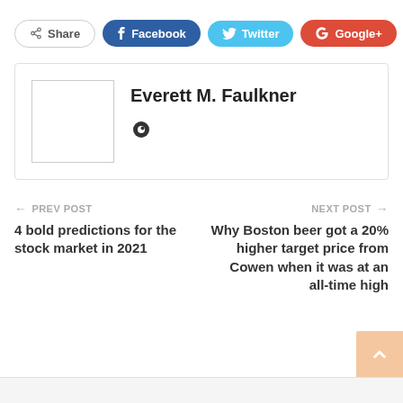[Figure (other): Social share buttons row: Share, Facebook, Twitter, Google+, plus button]
Everett M. Faulkner
← PREV POST
4 bold predictions for the stock market in 2021
NEXT POST →
Why Boston beer got a 20% higher target price from Cowen when it was at an all-time high